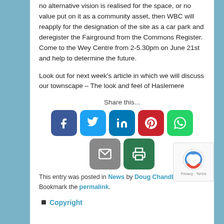no alternative vision is realised for the space, or no value put on it as a community asset, then WBC will reapply for the designation of the site as a car park and deregister the Fairground from the Commons Register. Come to the Wey Centre from 2-5.30pm on June 21st and help to determine the future.
Look out for next week's article in which we will discuss our townscape – The look and feel of Haslemere
Share this...
[Figure (infographic): Social sharing buttons: Facebook (blue), Twitter (light blue), LinkedIn (blue), Pinterest (red), WhatsApp (green), Email (gray), Print (dark green)]
This entry was posted in News by Doug Chandler. Bookmark the permalink.
Copyright